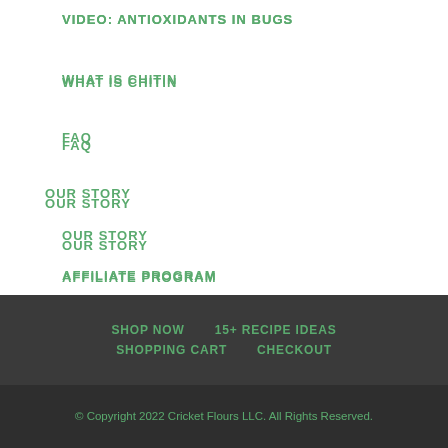VIDEO: ANTIOXIDANTS IN BUGS
WHAT IS CHITIN
FAQ
OUR STORY
OUR STORY
AFFILIATE PROGRAM
CONTACT US
WHOLESALE
SHOP NOW   15+ RECIPE IDEAS   SHOPPING CART   CHECKOUT
© Copyright 2022 Cricket Flours LLC. All Rights Reserved.